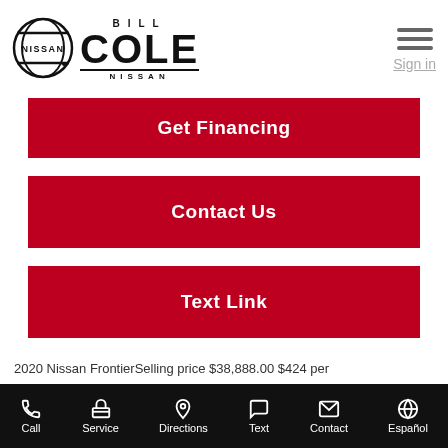[Figure (logo): Nissan logo circle with NISSAN text]
[Figure (logo): Bill Cole Nissan dealership logo with BILL above COLE in large bold text, NISSAN below]
Sign in
Get Financing
Contact Us
Text Link
2020 Nissan FrontierSelling price $38,888.00 $424 per
Call  Service  Directions  Text  Contact  Español